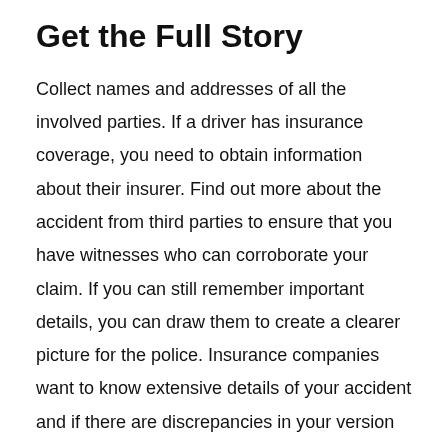Get the Full Story
Collect names and addresses of all the involved parties. If a driver has insurance coverage, you need to obtain information about their insurer. Find out more about the accident from third parties to ensure that you have witnesses who can corroborate your claim. If you can still remember important details, you can draw them to create a clearer picture for the police. Insurance companies want to know extensive details of your accident and if there are discrepancies in your version of events, it may affect your claim. So, it's always important to establish who was at fault from the onset to avoid issues with insurance payouts.
Determine the Type of Applicable Insurance